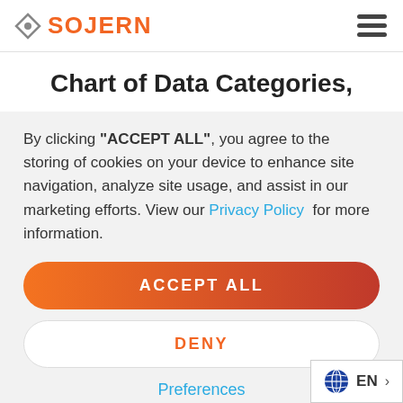SOJERN
Chart of Data Categories,
By clicking "ACCEPT ALL", you agree to the storing of cookies on your device to enhance site navigation, analyze site usage, and assist in our marketing efforts. View our Privacy Policy for more information.
ACCEPT ALL
DENY
Preferences
EN